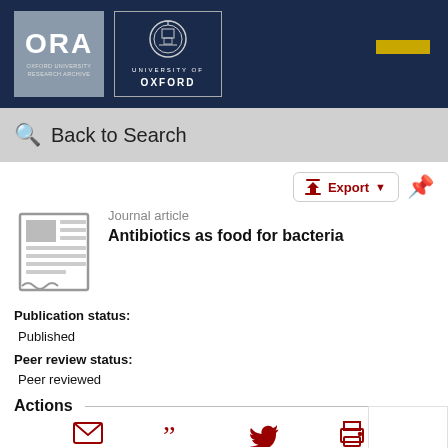[Figure (logo): ORA Oxford University Research Archive logo and University of Oxford crest logo on dark navy header bar with a yellow accent bar]
Back to Search
Export
Journal article
Antibiotics as food for bacteria
Publication status:
Published
Peer review status:
Peer reviewed
Actions
Email   Cite   Tweet   Print